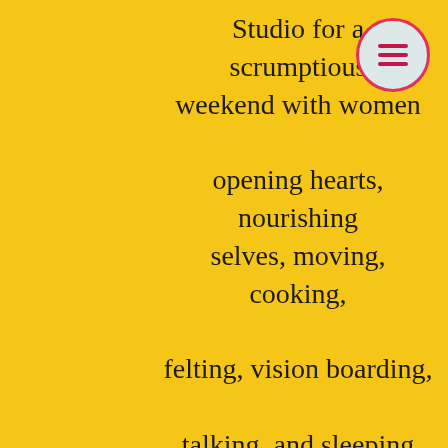Studio for a scrumptious weekend with women opening hearts, nourishing selves, moving, cooking, felting, vision boarding, talking, and sleeping well. What a gift! And only 10 minutes from my house." Cheryl
"All movement classes were incredible, thoughtful, creative, centering and the